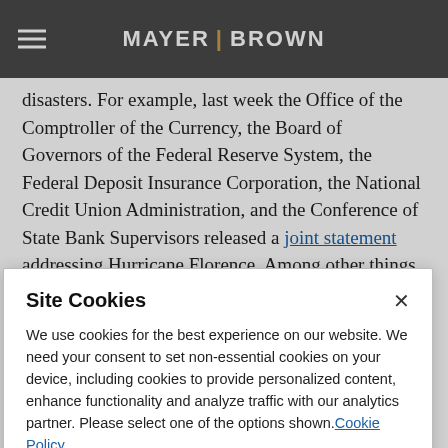MAYER | BROWN
disasters. For example, last week the Office of the Comptroller of the Currency, the Board of Governors of the Federal Reserve System, the Federal Deposit Insurance Corporation, the National Credit Union Administration, and the Conference of State Bank Supervisors released a joint statement addressing Hurricane Florence. Among other things, the agencies encouraged financial institutions to meet the needs of affected communities and stated that "[t]he agencies
Site Cookies

We use cookies for the best experience on our website. We need your consent to set non-essential cookies on your device, including cookies to provide personalized content, enhance functionality and analyze traffic with our analytics partner. Please select one of the options shown. Cookie Policy

Accept All   Reject All